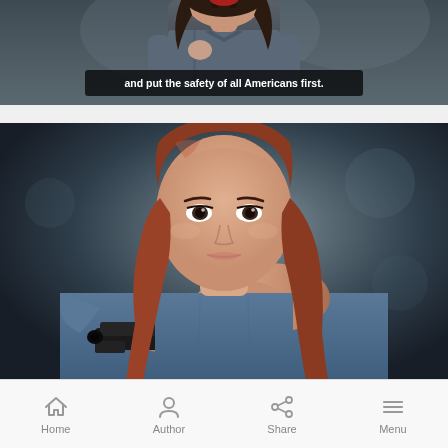[Figure (screenshot): Top portion of a video/image showing a woman with dark hair wearing a denim shirt, with subtitle text overlay reading 'and put the safety of all Americans first.']
[Figure (photo): Photo of a woman with long red/auburn hair wearing a denim jacket, pointing a black handgun directly at the camera, set against a dark blurred outdoor background.]
Home  Author  Share  Menu